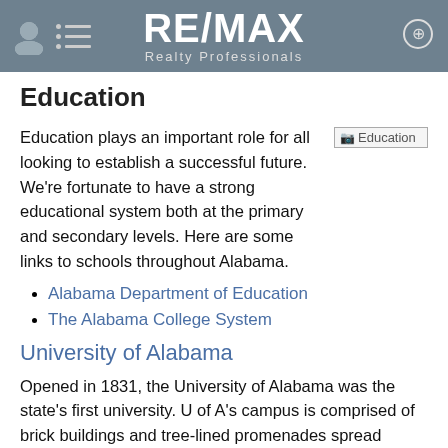RE/MAX Realty Professionals
Education
Education plays an important role for all looking to establish a successful future. We're fortunate to have a strong educational system both at the primary and secondary levels. Here are some links to schools throughout Alabama.
[Figure (illustration): Broken image placeholder labeled 'Education']
Alabama Department of Education
The Alabama College System
University of Alabama
Opened in 1831, the University of Alabama was the state's first university. U of A's campus is comprised of brick buildings and tree-lined promenades spread